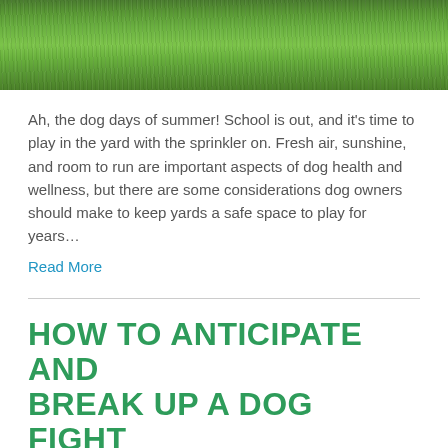[Figure (photo): Close-up photograph of green grass lawn viewed from above]
Ah, the dog days of summer! School is out, and it's time to play in the yard with the sprinkler on. Fresh air, sunshine, and room to run are important aspects of dog health and wellness, but there are some considerations dog owners should make to keep yards a safe space to play for years…
Read More
HOW TO ANTICIPATE AND BREAK UP A DOG FIGHT
January 19, 2022